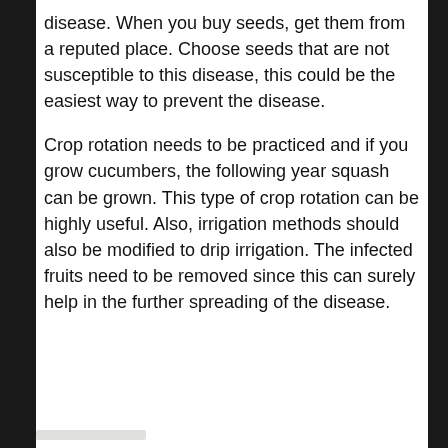disease. When you buy seeds, get them from a reputed place. Choose seeds that are not susceptible to this disease, this could be the easiest way to prevent the disease.
Crop rotation needs to be practiced and if you grow cucumbers, the following year squash can be grown. This type of crop rotation can be highly useful. Also, irrigation methods should also be modified to drip irrigation. The infected fruits need to be removed since this can surely help in the further spreading of the disease.